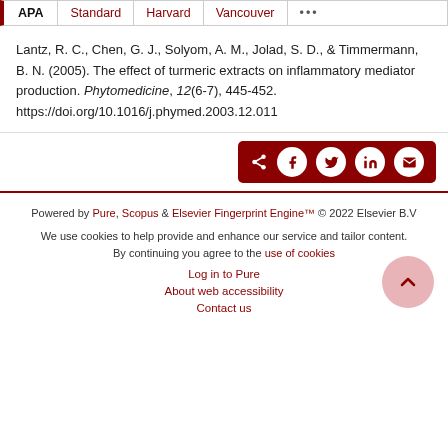APA | Standard | Harvard | Vancouver | ...
Lantz, R. C., Chen, G. J., Solyom, A. M., Jolad, S. D., & Timmermann, B. N. (2005). The effect of turmeric extracts on inflammatory mediator production. Phytomedicine, 12(6-7), 445-452. https://doi.org/10.1016/j.phymed.2003.12.011
[Figure (other): Share buttons: share, Facebook, Twitter, LinkedIn, email]
Powered by Pure, Scopus & Elsevier Fingerprint Engine™ © 2022 Elsevier B.V
We use cookies to help provide and enhance our service and tailor content. By continuing you agree to the use of cookies
Log in to Pure
About web accessibility
Contact us